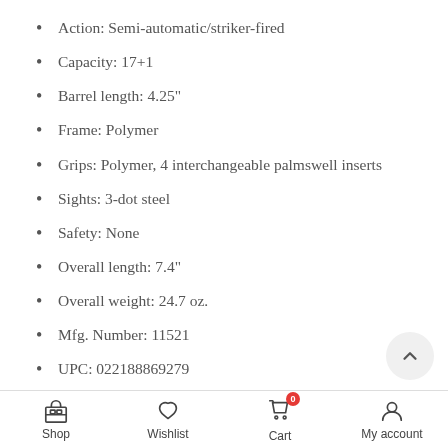Action: Semi-automatic/striker-fired
Capacity: 17+1
Barrel length: 4.25"
Frame: Polymer
Grips: Polymer, 4 interchangeable palmswell inserts
Sights: 3-dot steel
Safety: None
Overall length: 7.4"
Overall weight: 24.7 oz.
Mfg. Number: 11521
UPC: 022188869279
Shop  Wishlist  Cart  My account